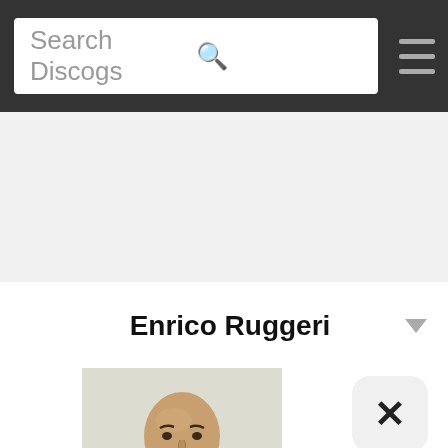Search Discogs
Enrico Ruggeri
[Figure (photo): Portrait photo of Enrico Ruggeri, a bald man with a goatee wearing a light olive/khaki blazer over a black shirt, photographed against a light gray background.]